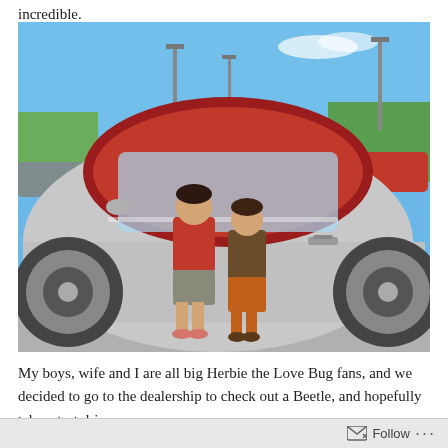incredible.
[Figure (photo): Two young boys standing in front of a silver VW Beetle convertible with a red top at a car dealership. The older boy wears a red t-shirt and gray shorts; the younger boy wears a brown shirt and orange pants. Blue sky and trees in the background.]
My boys, wife and I are all big Herbie the Love Bug fans, and we decided to go to the dealership to check out a Beetle, and hopefully take a test drive.
Follow